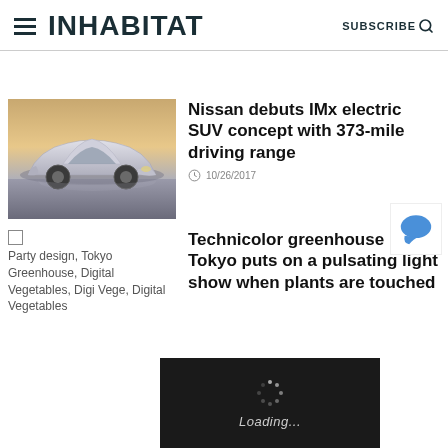INHABITAT — SUBSCRIBE
Nissan debuts IMx electric SUV concept with 373-mile driving range
10/26/2017
[Figure (photo): Silver Nissan IMx electric SUV concept car photographed against a warm background]
Party design, Tokyo Greenhouse, Digital Vegetables, Digi Vege, Digital Vegetables
Technicolor greenhouse in Tokyo puts on a pulsating light show when plants are touched
[Figure (screenshot): Loading spinner overlay with dark background showing 'Loading...' text]
[Figure (other): Disqus chat/comment icon in bottom right corner]